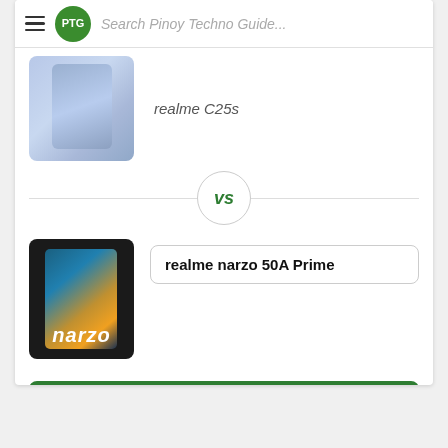Search Pinoy Techno Guide...
realme C25s
[Figure (photo): realme C25s smartphone image showing back and front view with blue-gray gradient design]
vs
[Figure (photo): realme narzo 50A Prime smartphone image showing front and back with dark design and colorful screen]
realme narzo 50A Prime
Compare